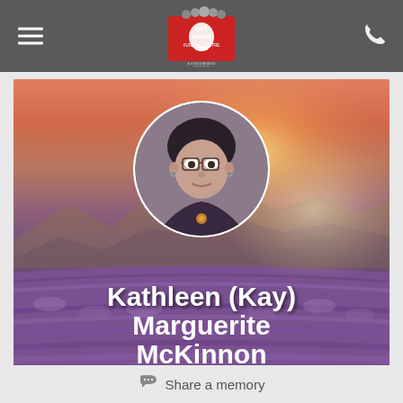[Figure (logo): Neil Bardal Funeral Centre logo with staff photos]
[Figure (photo): Lavender field landscape with sunset sky background and circular portrait photo of Kathleen (Kay) Marguerite McKinnon in center]
Kathleen (Kay) Marguerite McKinnon
Share a memory